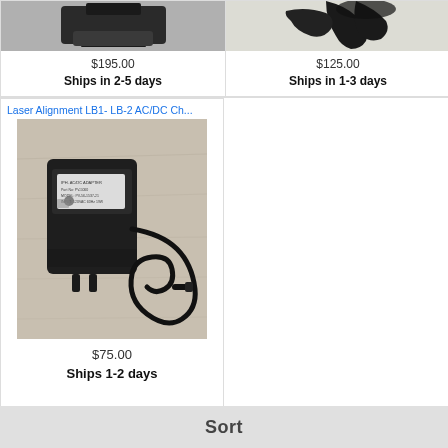[Figure (photo): AC/DC power adapter charger - top partial view, dark device on gray background]
$195.00
Ships in 2-5 days
[Figure (photo): AC/DC power adapter with coiled black cable on white background - top partial view]
$125.00
Ships in 1-3 days
Laser Alignment LB1- LB-2 AC/DC Ch...
[Figure (photo): Black AC/DC adapter (IPH brand) with cord and connector on wood-grain surface]
$75.00
Ships 1-2 days
Sort